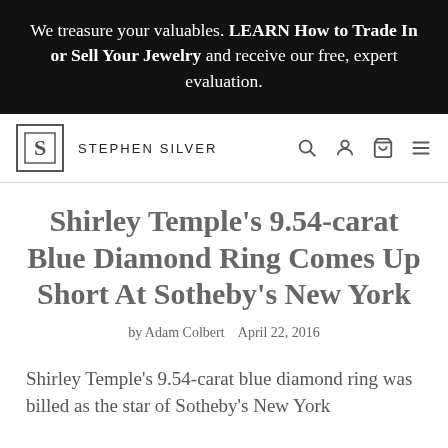We treasure your valuables. LEARN How to Trade In or Sell Your Jewelry and receive our free, expert evaluation.
[Figure (logo): Stephen Silver Fine Jewelry logo with stylized S in a box, followed by brand name STEPHEN SILVER and navigation icons]
Shirley Temple's 9.54-carat Blue Diamond Ring Comes Up Short At Sotheby's New York
by Adam Colbert   April 22, 2016
Shirley Temple's 9.54-carat blue diamond ring was billed as the star of Sotheby's New York